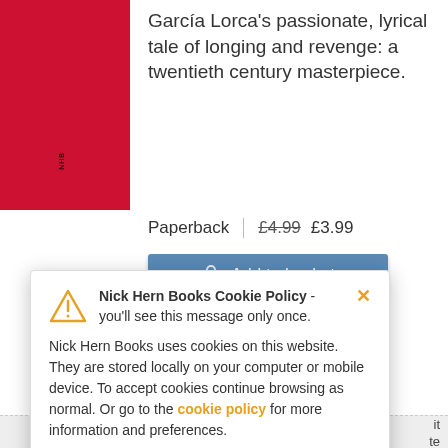[Figure (illustration): Red book cover positioned in upper left]
García Lorca's passionate, lyrical tale of longing and revenge: a twentieth century masterpiece.
Paperback | £4.99 £3.99
Add to basket
EPUB | £4.99 £3.99
Add to basket
Nick Hern Books Cookie Policy - you'll see this message only once.
Nick Hern Books uses cookies on this website. They are stored locally on your computer or mobile device. To accept cookies continue browsing as normal. Or go to the cookie policy for more information and preferences.